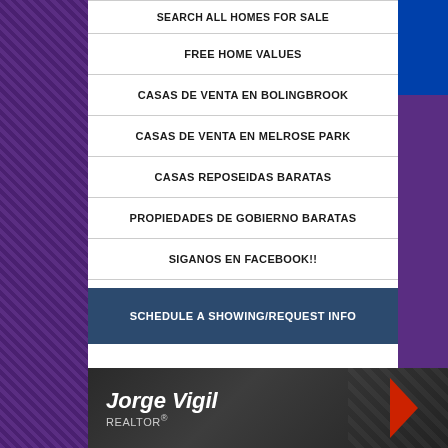SEARCH ALL HOMES FOR SALE
FREE HOME VALUES
CASAS DE VENTA EN BOLINGBROOK
CASAS DE VENTA EN MELROSE PARK
CASAS REPOSEIDAS BARATAS
PROPIEDADES DE GOBIERNO BARATAS
SIGANOS EN FACEBOOK!!
SCHEDULE A SHOWING/REQUEST INFO
Jorge Vigil REALTOR®